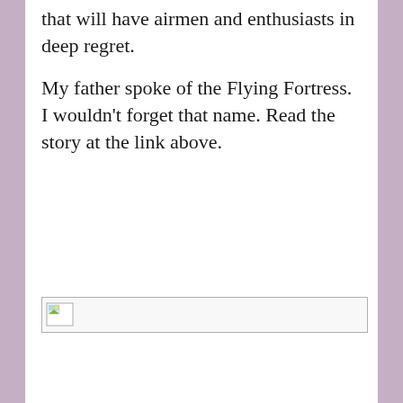that will have airmen and enthusiasts in deep regret.

My father spoke of the Flying Fortress. I wouldn't forget that name. Read the story at the link above.
[Figure (photo): Broken/missing image placeholder with a small thumbnail icon in the top-left corner, shown inside a bordered rectangle.]